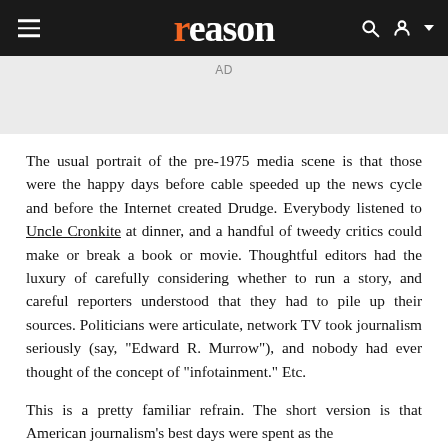reason
[Figure (other): Gray advertisement placeholder box with 'AD' label]
The usual portrait of the pre-1975 media scene is that those were the happy days before cable speeded up the news cycle and before the Internet created Drudge. Everybody listened to Uncle Cronkite at dinner, and a handful of tweedy critics could make or break a book or movie. Thoughtful editors had the luxury of carefully considering whether to run a story, and careful reporters understood that they had to pile up their sources. Politicians were articulate, network TV took journalism seriously (say, "Edward R. Murrow"), and nobody had ever thought of the concept of "infotainment." Etc.
This is a pretty familiar refrain. The short version is that American journalism's best days were spent as the